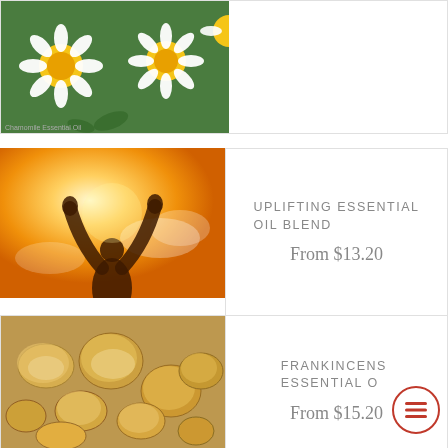[Figure (photo): Close-up photo of white daisy flowers with yellow centers and green leaves]
[Figure (photo): Silhouette of a person with arms raised against bright orange/golden sky with clouds]
UPLIFTING ESSENTIAL OIL BLEND
From $13.20
[Figure (photo): Close-up macro photo of golden/amber frankincense resin pieces]
FRANKINCENSE ESSENTIAL OIL
From $15.20